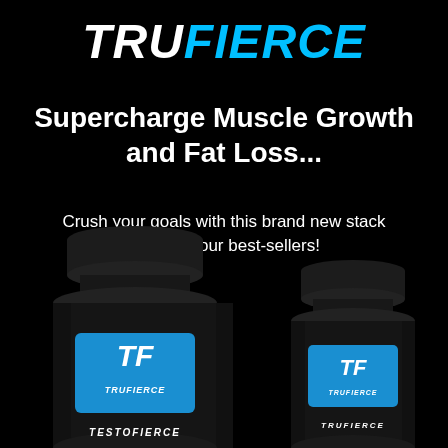[Figure (logo): TRUFIERCE logo in bold italic font, TRU in white and FIERCE in cyan/blue on black background]
Supercharge Muscle Growth and Fat Loss...
Crush your goals with this brand new stack featuring our best-sellers!
[Figure (photo): Two black supplement bottles with TF TRUFIERCE logo label in blue. Left bottle is larger (TESTOFIERCE), right bottle is smaller, both showing on black background.]